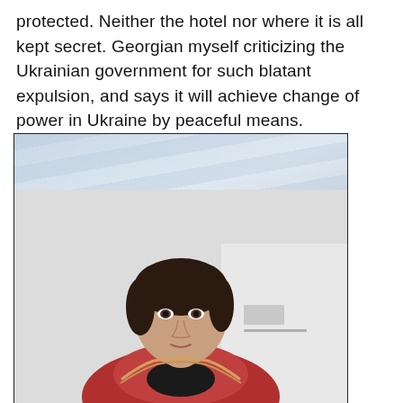protected. Neither the hotel nor where it is all kept secret. Georgian myself criticizing the Ukrainian government for such blatant expulsion, and says it will achieve change of power in Ukraine by peaceful means.
[Figure (photo): A woman with dark hair pulled back, wearing a red jacket with fur trim, photographed from the chest up against a light interior background. Above her is a strip showing a building exterior with glass/steel architectural elements.]